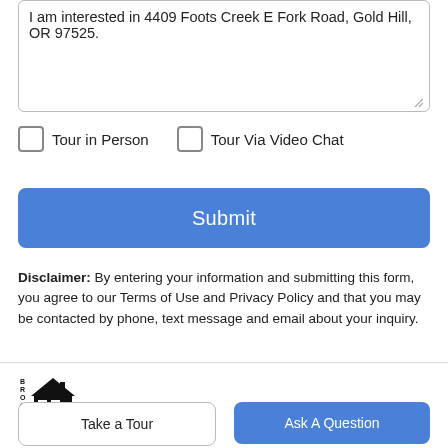I am interested in 4409 Foots Creek E Fork Road, Gold Hill, OR 97525.
Tour in Person
Tour Via Video Chat
Submit
Disclaimer: By entering your information and submitting this form, you agree to our Terms of Use and Privacy Policy and that you may be contacted by phone, text message and email about your inquiry.
[Figure (logo): BROOK real estate logo with house icon]
Take a Tour
Ask A Question